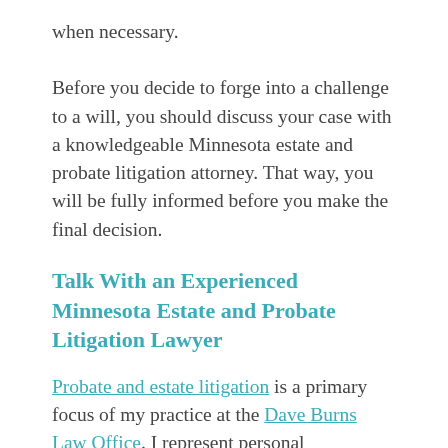when necessary.
Before you decide to forge into a challenge to a will, you should discuss your case with a knowledgeable Minnesota estate and probate litigation attorney. That way, you will be fully informed before you make the final decision.
Talk With an Experienced Minnesota Estate and Probate Litigation Lawyer
Probate and estate litigation is a primary focus of my practice at the Dave Burns Law Office. I represent personal representatives, heirs, and others with an interest in an estate regarding potential court actions, including will contests